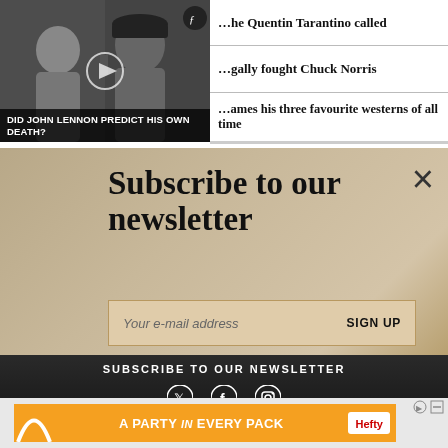[Figure (screenshot): Black and white video thumbnail with two people, one wearing a black beret, with a play button overlay]
DID JOHN LENNON PREDICT HIS OWN DEATH?
…the Quentin Tarantino called
…gally fought Chuck Norris
…ames his three favourite westerns of all time
Subscribe to our newsletter
Your e-mail address
SIGN UP
SUBSCRIBE TO OUR NEWSLETTER
JOBS / CAREERS
[Figure (infographic): Advertisement banner: A PARTY in EVERY PACK - Hefty brand on orange background]